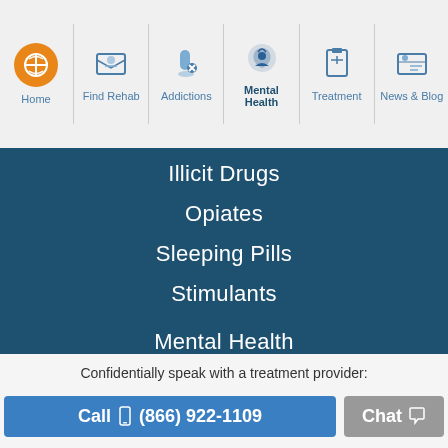[Figure (screenshot): Website navigation bar with icons for Home (orange circle), Find Rehab, Addictions, Mental Health (highlighted), Treatment, News & Blog]
Illicit Drugs
Opiates
Sleeping Pills
Stimulants
Mental Health
Dual Diagnosis
Behavioral Addictions
Internet Addiction
Anger Management
Confidentially speak with a treatment provider:
Call (866) 922-1109
Chat